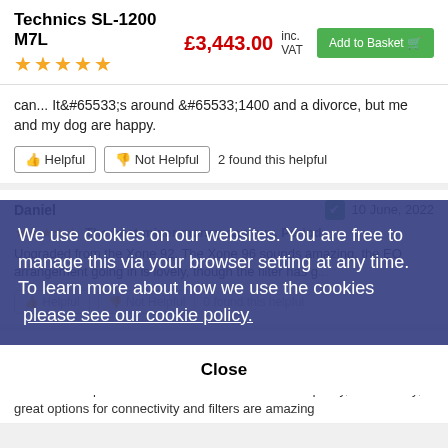Technics SL-1200 M7L
£3,443.00 inc. VAT
Add to Basket
can... It&#65533;s around &#65533;1400 and a divorce, but me and my dog are happy.
Helpful | Not Helpful | 2 found this helpful
Daniel
10 June, 2022
★★★★★ The best mixer money can buy. Period.
Upgraded from the Xone 92. The Xone 96 sounds amazing, the EQ arrangement going in is lovely, though the filter has g...
Helpful | Not Helpful | 0 found this helpful
6 May, 2022
★★★★★ Great Mixer
Was the best price I could see for this mixer. Great quality, feels sturdy, great options for connectivity and filters are amazing
We use cookies on our websites. You are free to manage this via your browser setting at any time. To learn more about how we use the cookies please see our cookie policy.
Close